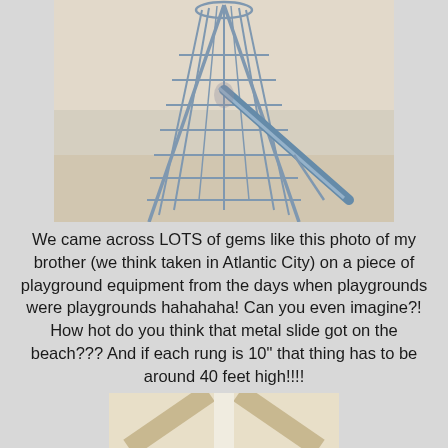[Figure (photo): Old black-and-white or faded photo of a tall metal playground structure with rungs and a metal slide, appearing to be on a beach (Atlantic City). The structure is a tall conical cage-like climbing frame with a slide extending to the right.]
We came across LOTS of gems like this photo of my brother (we think taken in Atlantic City) on a piece of playground equipment from the days when playgrounds were playgrounds hahahaha! Can you even imagine?! How hot do you think that metal slide got on the beach??? And if each rung is 10" that thing has to be around 40 feet high!!!!
[Figure (photo): Partial photo at the bottom of the page showing a light-colored wooden or cream-colored surface, cropped.]